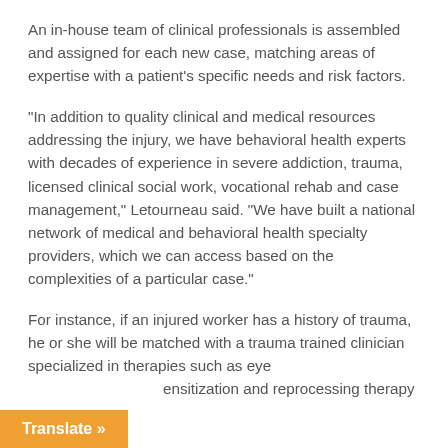An in-house team of clinical professionals is assembled and assigned for each new case, matching areas of expertise with a patient's specific needs and risk factors.
“In addition to quality clinical and medical resources addressing the injury, we have behavioral health experts with decades of experience in severe addiction, trauma, licensed clinical social work, vocational rehab and case management,” Letourneau said. “We have built a national network of medical and behavioral health specialty providers, which we can access based on the complexities of a particular case.”
For instance, if an injured worker has a history of trauma, he or she will be matched with a trauma trained clinician specialized in therapies such as eye …ensitization and reprocessing therapy
Translate »